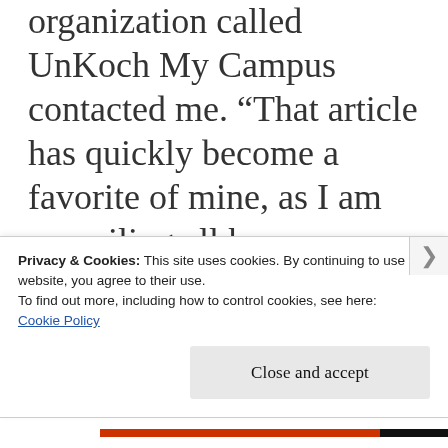organization called UnKoch My Campus contacted me. “That article has quickly become a favorite of mine, as I am compiling all known oversteps of the Charles Koch Foundation,” he said, referring to a piece I wrote in 2008. As it turns out, very few campuses have successfully deflected overtures by the
Privacy & Cookies: This site uses cookies. By continuing to use this website, you agree to their use.
To find out more, including how to control cookies, see here:
Cookie Policy
Close and accept